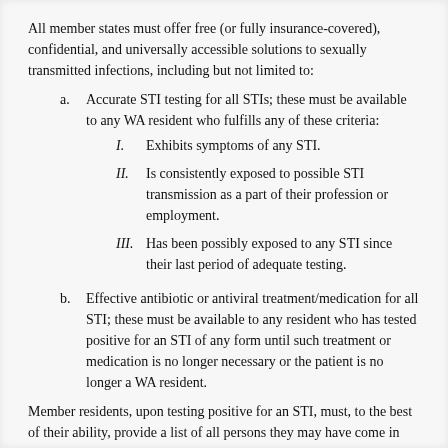All member states must offer free (or fully insurance-covered), confidential, and universally accessible solutions to sexually transmitted infections, including but not limited to:
a. Accurate STI testing for all STIs; these must be available to any WA resident who fulfills any of these criteria:
I. Exhibits symptoms of any STI.
II. Is consistently exposed to possible STI transmission as a part of their profession or employment.
III. Has been possibly exposed to any STI since their last period of adequate testing.
b. Effective antibiotic or antiviral treatment/medication for all STI; these must be available to any resident who has tested positive for an STI of any form until such treatment or medication is no longer necessary or the patient is no longer a WA resident.
Member residents, upon testing positive for an STI, must, to the best of their ability, provide a list of all persons they may have come in